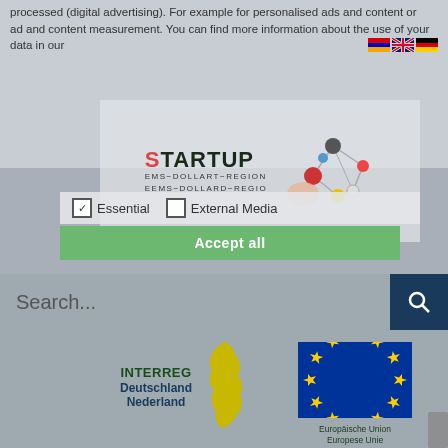processed (digital advertising). For example for personalised ads and content or ad and content measurement. You can find more information about the use of your data in our
[Figure (logo): STARTUP EMS-DOLLART-REGION / EEMS-DOLLARD-REGIO logo with network/pig graphic]
Essential    External Media
Accept all
Search...
[Figure (logo): INTERREG Deutschland Nederland logo with yellow map shape]
[Figure (logo): European Union flag logo with text: Europäische Union / Europese Unie]
Mastering the Design Thinking
Helping the next generation of innovators understand the design moves that matter!